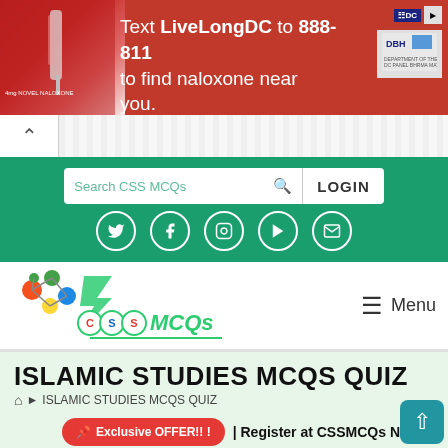[Figure (infographic): Red ad banner: Text LiveLongDC to 888-811 to find naloxone near you. Shows syringe image on left, DC/DBH logos on right.]
[Figure (logo): CSSMCQs website logo with colorful molecule and stylized text]
ISLAMIC STUDIES MCQS QUIZ
🏠 ▶ ISLAMIC STUDIES MCQS QUIZ
📌 Exclusive OFFER!! ! | Register at CSSMCQs N